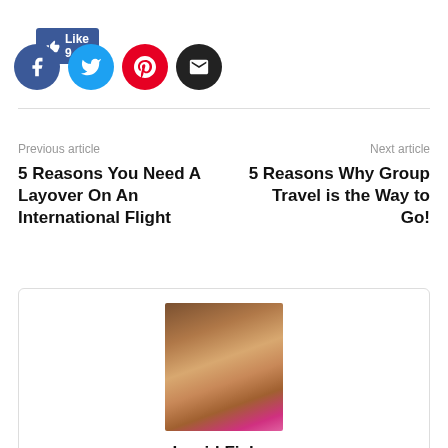[Figure (screenshot): Facebook Like button showing 'Like 9' in blue]
[Figure (screenshot): Four social sharing icons: Facebook (blue circle with f), Twitter (cyan circle with bird), Pinterest (red circle with P), Email (black circle with envelope)]
Previous article
Next article
5 Reasons You Need A Layover On An International Flight
5 Reasons Why Group Travel is the Way to Go!
[Figure (photo): Author photo of Ingrid Fisher - a smiling woman with curly highlighted hair and pink clothing]
Ingrid Fisher